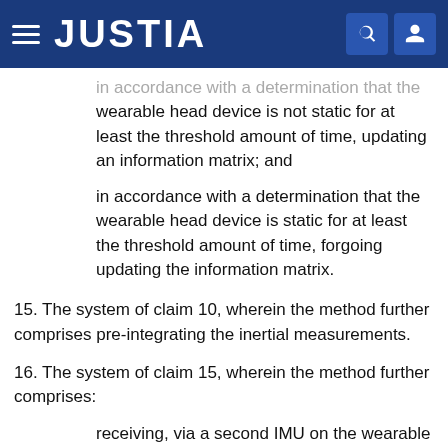JUSTIA
in accordance with a determination that the wearable head device is not static for at least the threshold amount of time, updating an information matrix; and
in accordance with a determination that the wearable head device is static for at least the threshold amount of time, forgoing updating the information matrix.
15. The system of claim 10, wherein the method further comprises pre-integrating the inertial measurements.
16. The system of claim 15, wherein the method further comprises:
receiving, via a second IMU on the wearable head device, second inertial measurements; and